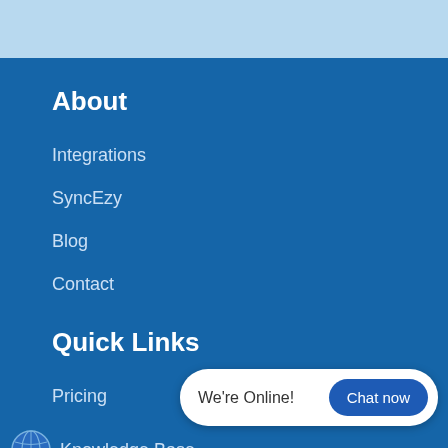About
Integrations
SyncEzy
Blog
Contact
Quick Links
Pricing
Knowledge Base
Privacy Policy
We're Online!
Chat now